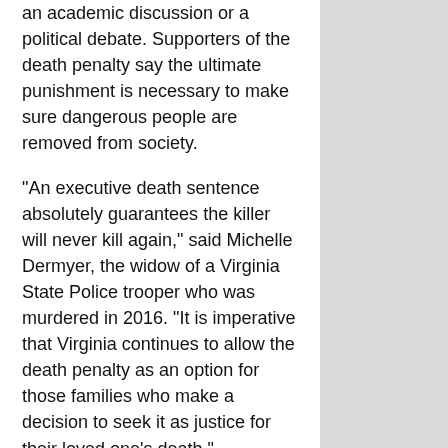an academic discussion or a political debate. Supporters of the death penalty say the ultimate punishment is necessary to make sure dangerous people are removed from society.
"An executive death sentence absolutely guarantees the killer will never kill again," said Michelle Dermyer, the widow of a Virginia State Police trooper who was murdered in 2016. "It is imperative that Virginia continues to allow the death penalty as an option for those families who make a decision to seek it as justice for their loved one's death."
Critics of the death penalty say it's too expensive, doesn't act as a deterrent and is used disproportionately against Black people. The coalition of organizations supporting legislation to end capital punishment in Virginia include religious groups, civil rights groups and families of victims who say murdering the murderers will not bring justice. Some of the most vocal advocates are the lawyers who have